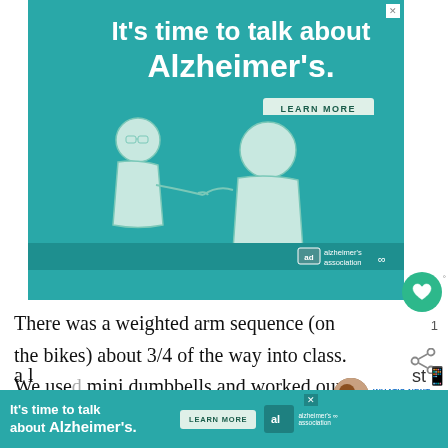[Figure (advertisement): Teal Alzheimer's Association advertisement banner with white text 'It's time to talk about Alzheimer's.', a 'LEARN MORE' button, URL 'alz.org/ourstories', and an illustration of two people talking, with the Alzheimer's Association logo.]
There was a weighted arm sequence (on the bikes) about 3/4 of the way into class. We used mini dumbbells and worked our upper body of little, isolated movements, which reminded me
[Figure (advertisement): Second smaller Alzheimer's Association ad strip at the bottom: 'It's time to talk about Alzheimer's.' with LEARN MORE button and logo.]